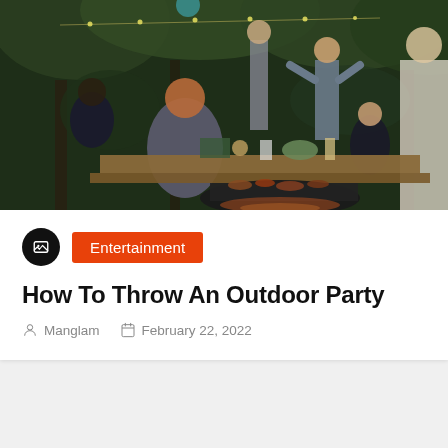[Figure (photo): Outdoor party scene with people sitting around a wooden table in a forest setting, string lights visible, food and drinks on the table, man standing and clapping]
Entertainment
How To Throw An Outdoor Party
Manglam   February 22, 2022